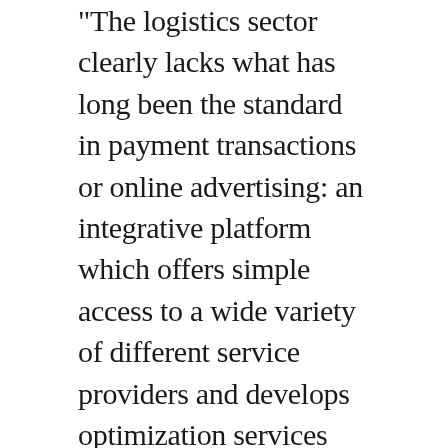"The logistics sector clearly lacks what has long been the standard in payment transactions or online advertising: an integrative platform which offers simple access to a wide variety of different service providers and develops optimization services that are too complex for retailers and logistics providers individually", Felix Ostwald describes their solution that will considerably simplify the connection between fulfillment providers and e-commerce retailers. The 31-year-old co-founder and managing director and his partner Jonas Grunwald, 34 years old, have founded the company Codept. But not alone. They are supported by the company builder Beam, a spin-off of BEUMER Group based in Berlin. “We try to solve big problems in logistics together with the start-up teams", says managing director Robert